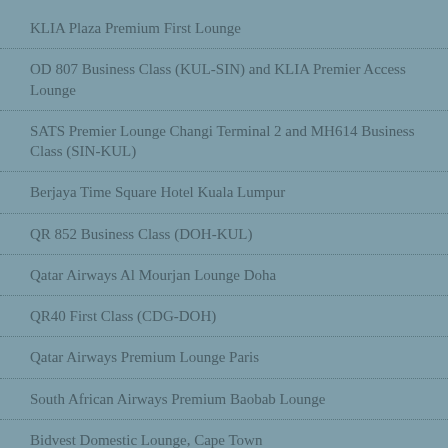KLIA Plaza Premium First Lounge
OD 807 Business Class (KUL-SIN) and KLIA Premier Access Lounge
SATS Premier Lounge Changi Terminal 2 and MH614 Business Class (SIN-KUL)
Berjaya Time Square Hotel Kuala Lumpur
QR 852 Business Class (DOH-KUL)
Qatar Airways Al Mourjan Lounge Doha
QR40 First Class (CDG-DOH)
Qatar Airways Premium Lounge Paris
South African Airways Premium Baobab Lounge
Bidvest Domestic Lounge, Cape Town